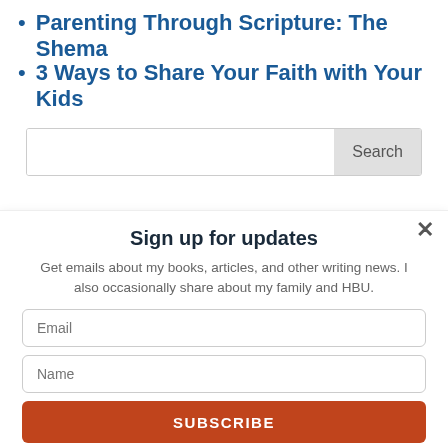Parenting Through Scripture: The Shema
3 Ways to Share Your Faith with Your Kids
[Figure (screenshot): Search input box with 'Search' button on the right]
Sign up for updates
Get emails about my books, articles, and other writing news. I also occasionally share about my family and HBU.
Email
Name
SUBSCRIBE